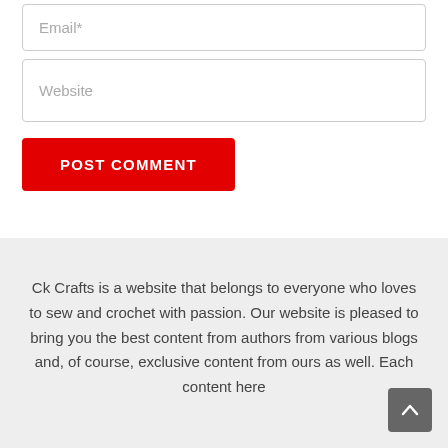Email*
Website
POST COMMENT
Ck Crafts is a website that belongs to everyone who loves to sew and crochet with passion. Our website is pleased to bring you the best content from authors from various blogs and, of course, exclusive content from ours as well. Each content here